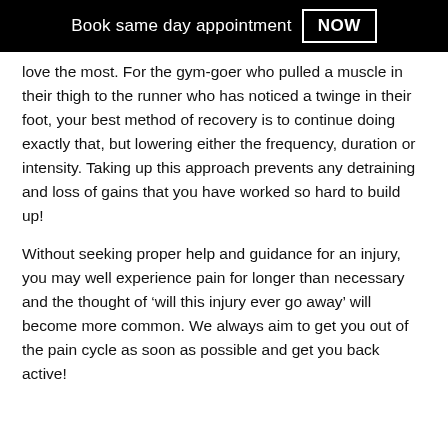Book same day appointment NOW
love the most. For the gym-goer who pulled a muscle in their thigh to the runner who has noticed a twinge in their foot, your best method of recovery is to continue doing exactly that, but lowering either the frequency, duration or intensity. Taking up this approach prevents any detraining and loss of gains that you have worked so hard to build up!
Without seeking proper help and guidance for an injury, you may well experience pain for longer than necessary and the thought of ‘will this injury ever go away’ will become more common. We always aim to get you out of the pain cycle as soon as possible and get you back active!